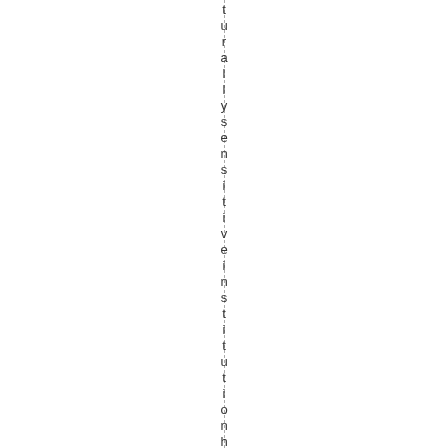turallysensitiveinstitutionhel